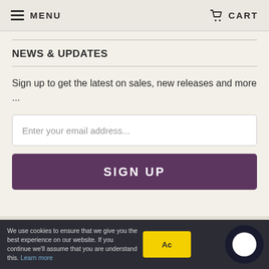MENU   CART
NEWS & UPDATES
Sign up to get the latest on sales, new releases and more ...
Enter your email address...
SIGN UP
© 2022 Studio Dance Wear. Designed by Out of the Sandbox. Powered by Shopify
We use cookies to ensure that we give you the best experience on our website. If you continue we'll assume that you are understand this. Learn more